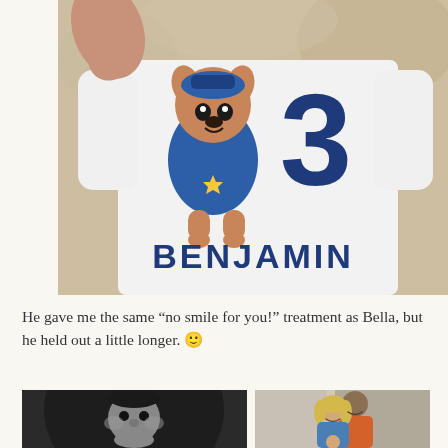[Figure (photo): Child wearing a white birthday t-shirt with Paw Patrol character Chase and a large number 3, with the name BENJAMIN printed in navy blue letters below. Child's arm is raised.]
He gave me the same “no smile for you!” treatment as Bella, but he held out a little longer. 🙂
[Figure (photo): Black and white close-up photo of a baby's face]
[Figure (photo): Color photo of a man in an orange polo shirt and a woman with blonde hair smiling, with a child partially visible]